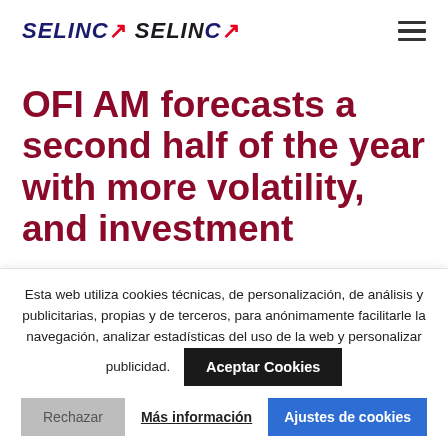SELINCA
OFI AM forecasts a second half of the year with more volatility, and investment
Esta web utiliza cookies técnicas, de personalización, de análisis y publicitarias, propias y de terceros, para anónimamente facilitarle la navegación, analizar estadísticas del uso de la web y personalizar publicidad.
Aceptar Cookies
Rechazar
Más información
Ajustes de cookies